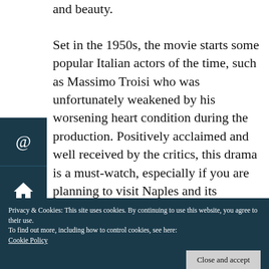and beauty.
Set in the 1950s, the movie starts some popular Italian actors of the time, such as Massimo Troisi who was unfortunately weakened by his worsening heart condition during the production. Positively acclaimed and well received by the critics, this drama is a must-watch, especially if you are planning to visit Naples and its surroundings.
Privacy & Cookies: This site uses cookies. By continuing to use this website, you agree to their use.
To find out more, including how to control cookies, see here:
Cookie Policy
Close and accept
first-hand the beautiful panoramas and to get